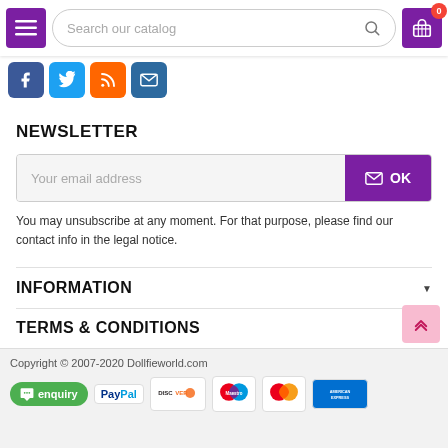Search our catalog
[Figure (screenshot): Social media icons row: Facebook, Twitter, RSS, Email]
NEWSLETTER
Your email address
OK
You may unsubscribe at any moment. For that purpose, please find our contact info in the legal notice.
INFORMATION
TERMS & CONDITIONS
Copyright © 2007-2020 Dollfieworld.com